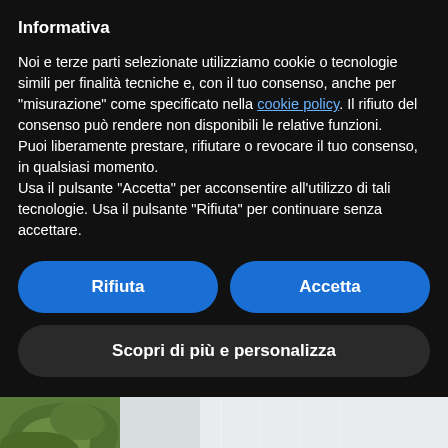Informativa
Noi e terze parti selezionate utilizziamo cookie o tecnologie simili per finalità tecniche e, con il tuo consenso, anche per “misurazione” come specificato nella cookie policy. Il rifiuto del consenso può rendere non disponibili le relative funzioni.
Puoi liberamente prestare, rifiutare o revocare il tuo consenso, in qualsiasi momento.
Usa il pulsante “Accetta” per acconsentire all’utilizzo di tali tecnologie. Usa il pulsante “Rifiuta” per continuare senza accettare.
Rifiuta
Accetta
Scopri di più e personalizza
[Figure (photo): Partial view of a person wearing a white linen shirt, standing near green leafy plants. Only the torso and arm area is visible.]